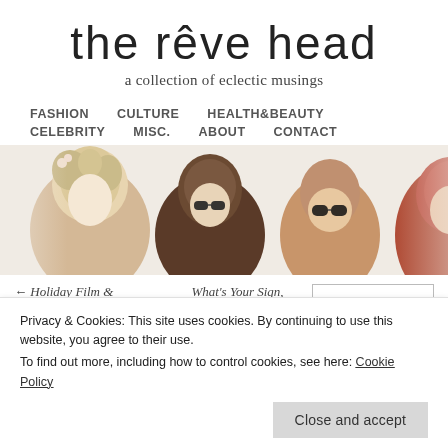the rêve head
a collection of eclectic musings
FASHION   CULTURE   HEALTH&BEAUTY   CELEBRITY   MISC.   ABOUT   CONTACT
[Figure (photo): Banner image of five fashion figures showing creative hairstyles, cropped at the head/shoulders level against a white background]
← Holiday Film &
What's Your Sign,
Privacy & Cookies: This site uses cookies. By continuing to use this website, you agree to their use.
To find out more, including how to control cookies, see here: Cookie Policy
Close and accept
■ February 2017